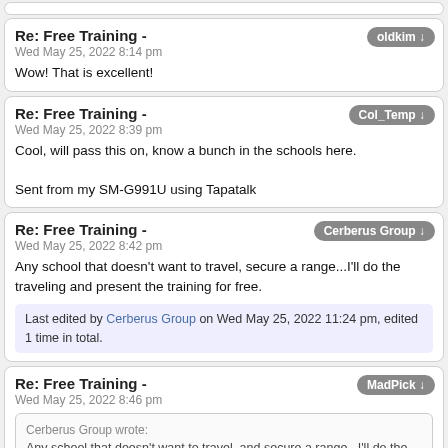Re: Free Training -
Wed May 25, 2022 8:14 pm
Wow! That is excellent!
Re: Free Training -
Wed May 25, 2022 8:39 pm
Cool, will pass this on, know a bunch in the schools here.

Sent from my SM-G991U using Tapatalk
Re: Free Training -
Wed May 25, 2022 8:42 pm
Any school that doesn't want to travel, secure a range...I'll do the traveling and present the training for free.
Last edited by Cerberus Group on Wed May 25, 2022 11:24 pm, edited 1 time in total.
Re: Free Training -
Wed May 25, 2022 8:46 pm
Cerberus Group wrote:
Any school that doesn't want to travel, and secure a range...I'll do the traveling and present the training for free.